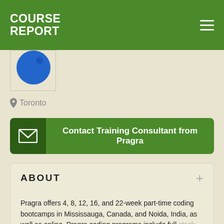COURSE REPORT
[Figure (logo): Blue circular logo partially visible]
Toronto
Contact Training Consultant from Pragra
ABOUT
Pragra offers 4, 8, 12, 16, and 22-week part-time coding bootcamps in Mississauga, Canada, and Noida, India, as well as online. Pragra coding programs include full stack Java, machine learning, dev ops, Big Data, QA